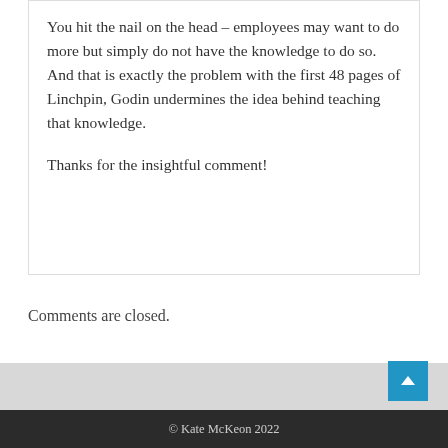You hit the nail on the head – employees may want to do more but simply do not have the knowledge to do so. And that is exactly the problem with the first 48 pages of Linchpin, Godin undermines the idea behind teaching that knowledge.
Thanks for the insightful comment!
Comments are closed.
© Kate McKeon 2022